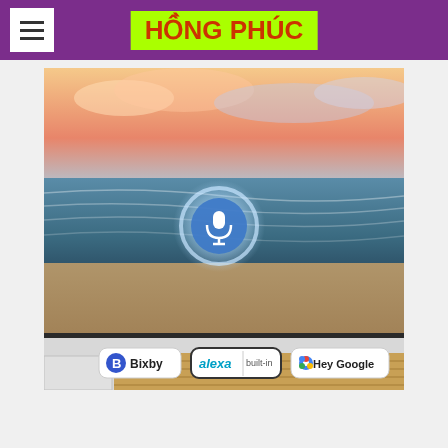HỒNG PHÚC
[Figure (photo): Samsung TV displaying a beach sunset scene with a voice assistant microphone icon overlay. Below the TV are logos for Bixby, alexa built-in, and Hey Google voice assistants.]